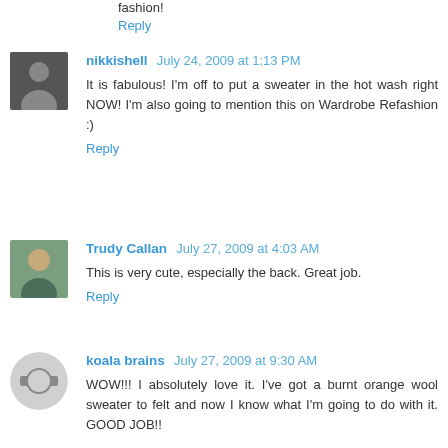fashion!
Reply
nikkishell July 24, 2009 at 1:13 PM
It is fabulous! I'm off to put a sweater in the hot wash right NOW! I'm also going to mention this on Wardrobe Refashion :)
Reply
Trudy Callan July 27, 2009 at 4:03 AM
This is very cute, especially the back. Great job.
Reply
koala brains July 27, 2009 at 9:30 AM
WOW!!! I absolutely love it. I've got a burnt orange wool sweater to felt and now I know what I'm going to do with it. GOOD JOB!!